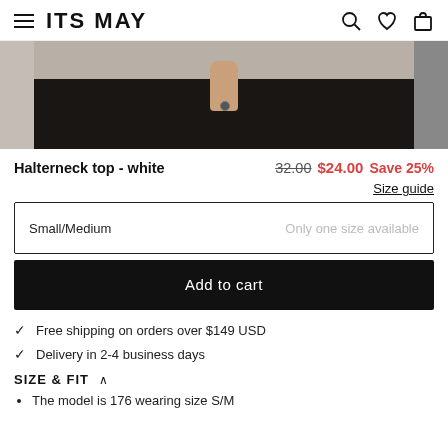ITS MAY
[Figure (photo): Product photo showing a person wearing dark/black denim jeans, cropped at the waist/torso area. Partial side panels visible on left and right edges.]
Halterneck top - white   32.00  $24.00  Save 25%
Size guide
Small/Medium    Only one size available
Add to cart
Free shipping on orders over $149 USD
Delivery in 2-4 business days
SIZE & FIT
The model is 176 wearing size S/M